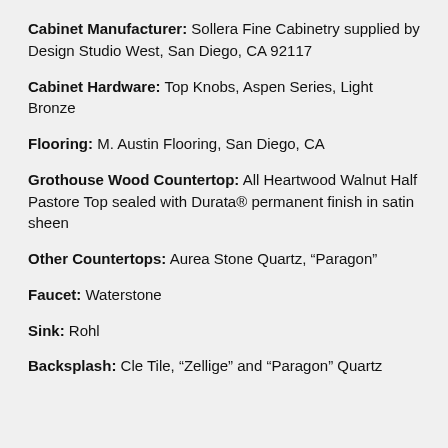Cabinet Manufacturer: Sollera Fine Cabinetry supplied by Design Studio West, San Diego, CA 92117
Cabinet Hardware: Top Knobs, Aspen Series, Light Bronze
Flooring: M. Austin Flooring, San Diego, CA
Grothouse Wood Countertop: All Heartwood Walnut Half Pastore Top sealed with Durata® permanent finish in satin sheen
Other Countertops: Aurea Stone Quartz, “Paragon”
Faucet: Waterstone
Sink: Rohl
Backsplash: Cle Tile, “Zellige” and “Paragon” Quartz